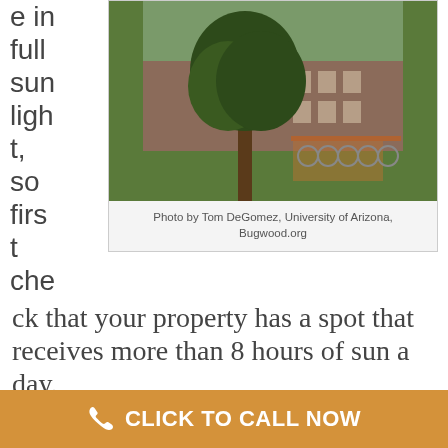e in full sunlight, so first check that your property has a spot that receives more than 8 hours of sun a day.
[Figure (photo): Large tree in front of a brick building with bicycles parked nearby, on a green lawn.]
Photo by Tom DeGomez, University of Arizona, Bugwood.org
The soil should also be well-drained, as the tree can die in standing water.
As a medium-height tree, it doesn't need too much room to grow, but keep in mind that it will continue
CLICK TO CALL NOW